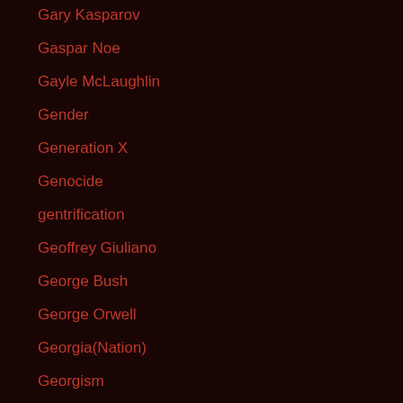Gary Kasparov
Gaspar Noe
Gayle McLaughlin
Gender
Generation X
Genocide
gentrification
Geoffrey Giuliano
George Bush
George Orwell
Georgia(Nation)
Georgism
Germanwings Plane Crash
Germany
Ghost in a Shell